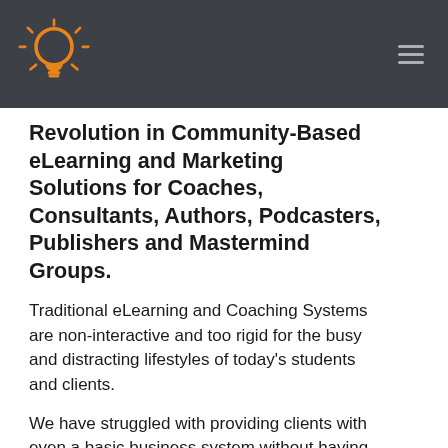Revolution in Community-Based eLearning and Marketing Solutions for Coaches, Consultants, Authors, Podcasters, Publishers and Mastermind Groups.
Traditional eLearning and Coaching Systems are non-interactive and too rigid for the busy and distracting lifestyles of today's students and clients.
We have struggled with providing clients with even a basic business system without having to subscribe to